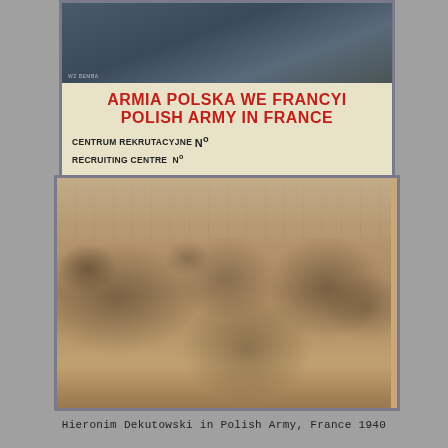[Figure (illustration): Polish Army recruitment poster showing 'ARMIA POLSKA WE FRANCYI / POLISH ARMY IN FRANCE / CENTRUM REKRUTACYJNE / RECRUITING CENTRE No.' with a winter battle scene photograph at top]
[Figure (photo): Sepia photograph of a group of Polish soldiers posing together, some seated on ground, some standing, in military uniforms and caps, with a wooden wall in background]
Hieronim Dekutowski in Polish Army, France 1940